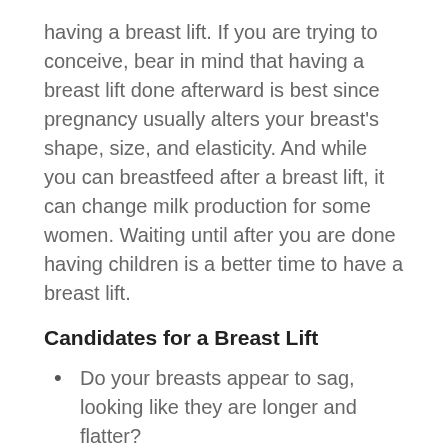having a breast lift. If you are trying to conceive, bear in mind that having a breast lift done afterward is best since pregnancy usually alters your breast's shape, size, and elasticity. And while you can breastfeed after a breast lift, it can change milk production for some women. Waiting until after you are done having children is a better time to have a breast lift.
Candidates for a Breast Lift
Do your breasts appear to sag, looking like they are longer and flatter?
Are your nipples falling under the creases in your breast?